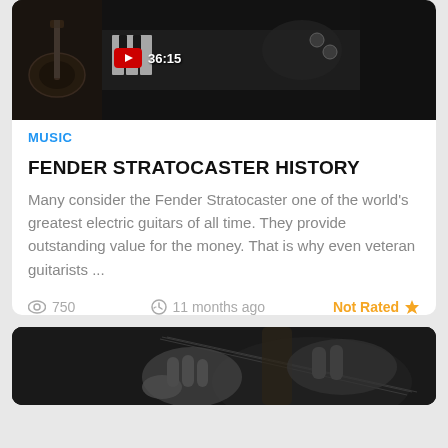[Figure (screenshot): Top card with two thumbnail images side by side. Left thumbnail shows a guitar in dark tones. Right thumbnail shows a guitar/piano in black and white with a YouTube play button badge showing '36:15'.]
MUSIC
FENDER STRATOCASTER HISTORY
Many consider the Fender Stratocaster one of the world's greatest electric guitars of all time. They provide outstanding value for the money. That is why even veteran guitarists ...
750  11 months ago  Not Rated ★
[Figure (photo): Black and white photo of a person's hands playing an electric guitar, partially visible at bottom of page.]